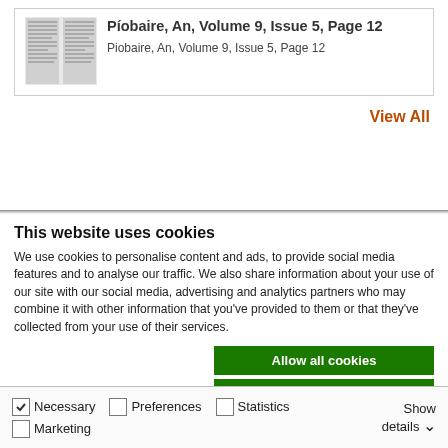[Figure (other): Thumbnail image of a document page]
Píobaire, An, Volume 9, Issue 5, Page 12
Piobaire, An, Volume 9, Issue 5, Page 12
View All
This website uses cookies
We use cookies to personalise content and ads, to provide social media features and to analyse our traffic. We also share information about your use of our site with our social media, advertising and analytics partners who may combine it with other information that you've provided to them or that they've collected from your use of their services.
Allow all cookies
Allow selection
Use necessary cookies only
Necessary   Preferences   Statistics   Marketing   Show details